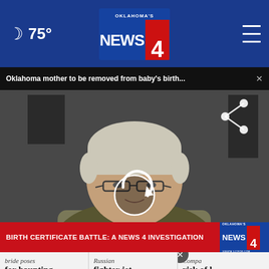[Figure (screenshot): Oklahoma's News 4 website screenshot showing a news broadcast video player with a woman being interviewed, a lower-third graphic reading 'BIRTH CERTIFICATE BATTLE: A NEWS 4 INVESTIGATION', navigation bar with moon icon and 75 degrees temperature, headline bar reading 'Oklahoma mother to be removed from baby's birth...', and bottom article teasers including 'bride poses for haunting wedding pic', 'Russian fighter jet falls to the', 'Comp risk of asset se report', plus a Carolina Industrial Trucks advertisement banner.]